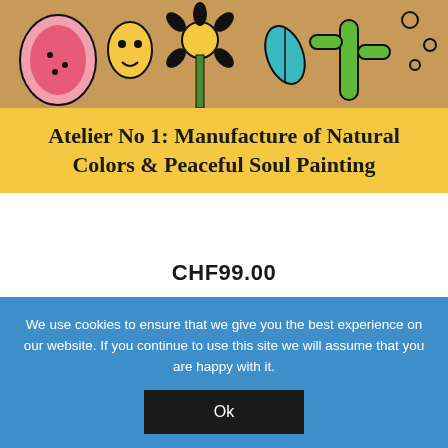[Figure (illustration): Colorful folk art / painting on a warm tan/orange background showing abstract human figures, plants, and decorative shapes in black outlines with bright colors including pink, teal, green, and yellow.]
Atelier No 1: Manufacture of Natural Colors & Peaceful Soul Painting
CHF99.00
ADD TO CART
[Figure (photo): Partial bottom image showing what appears to be a zebra-striped or abstract black and white pattern against a light background.]
We use cookies to ensure that we give you the best experience on our website. If you continue to use this site we will assume that you are happy with it.
Ok